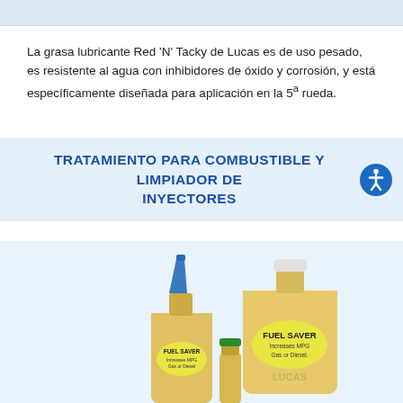La grasa lubricante Red 'N' Tacky de Lucas es de uso pesado, es resistente al agua con inhibidores de óxido y corrosión, y está específicamente diseñada para aplicación en la 5ª rueda.
TRATAMIENTO PARA COMBUSTIBLE Y LIMPIADOR DE INYECTORES
[Figure (photo): Photo of Lucas Fuel Saver products — two bottles of different sizes with yellow 'FUEL SAVER Increases MPG Gas or Diesel' labels, and a small green-capped bottle, on a light blue background.]